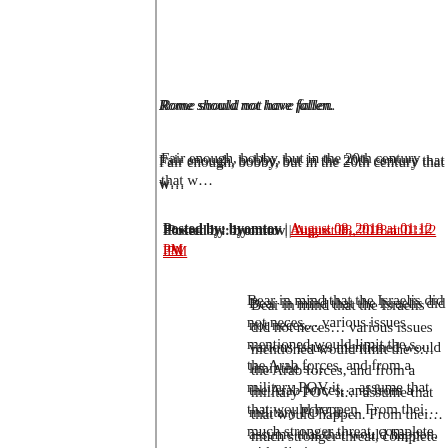Rome should not have fallen.
Fair enough, bobby, but in the 20th century that w…
Posted by: byomtov | August 08, 2018 at 01:12 PM
Bear in mind that the Israelis did not neces… various issues mentioned would limit the s… the Arab forces, and from a military POV it… assume that that would happen. From thei… much stronger threat, complete with elimin…
From the Athenian POV, the Persians at Maratho… theretofore invincible force.
So when those ~10K Athenians nevertheless dec… far more impressive looking Persian infantry... We… the Athenians as a great victory.
And with the benefit of hindsight, we can also obs… apprehensions the Greeks no doubt felt in the mo… effectiveness of Greek hoplite tactics against Pers… that Athenian victory an unsurprising likelihood…